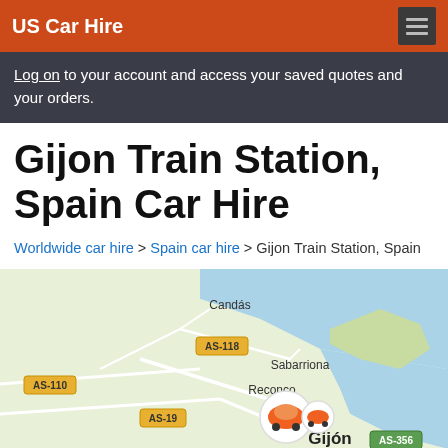US Car Hire
Log on to your account and access your saved quotes and your orders.
Gijon Train Station, Spain Car Hire
Worldwide car hire > Spain car hire > Gijon Train Station, Spain
[Figure (map): Map showing Gijon, Spain area with locations including Candás, AS-118, AS-110, Sabarriona, Reconco, AS-19, and Gijón marked, with car hire icons near city center and AS-356 road visible.]